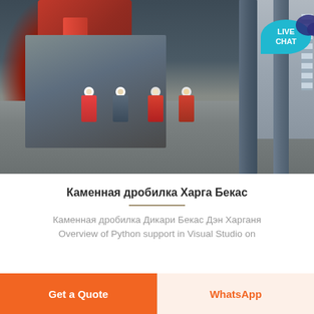[Figure (photo): Industrial workers in red and dark uniforms with white hard hats working around heavy red machinery and equipment at an industrial facility. Multiple workers are gathered around a machine base. Large pipes and a building structure are visible in the background. A 'LIVE CHAT' bubble is overlaid in the top-right corner.]
Каменная дробилка Харга Бекас
Каменная дробилка Дикари Бекас Дэн Харганя Overview of Python support in Visual Studio on